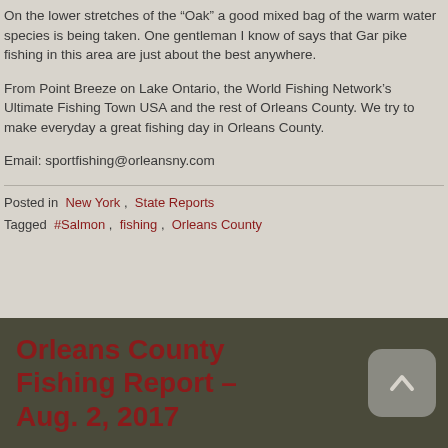On the lower stretches of the “Oak” a good mixed bag of the warm water species is being taken.  One gentleman I know of says that Gar pike fishing in this area are just about the best anywhere.
From Point Breeze on Lake Ontario, the World Fishing Network’s Ultimate Fishing Town USA and the rest of Orleans County.  We try to make everyday a great fishing day in Orleans County.
Email: sportfishing@orleansny.com
Posted in  New York ,  State Reports
Tagged  #Salmon ,  fishing ,  Orleans County
Orleans County Fishing Report – Aug. 2, 2017